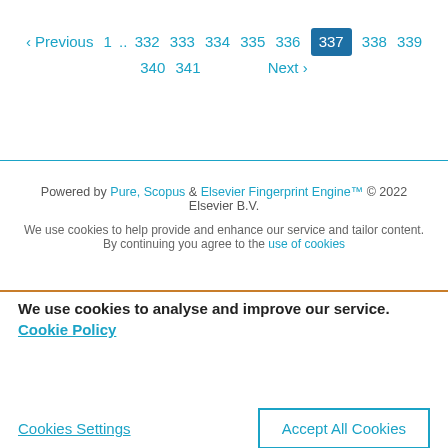‹ Previous 1 .. 332 333 334 335 336 337 338 339 340 341 Next ›
Powered by Pure, Scopus & Elsevier Fingerprint Engine™ © 2022 Elsevier B.V.
We use cookies to help provide and enhance our service and tailor content. By continuing you agree to the use of cookies
We use cookies to analyse and improve our service. Cookie Policy
Cookies Settings
Accept All Cookies